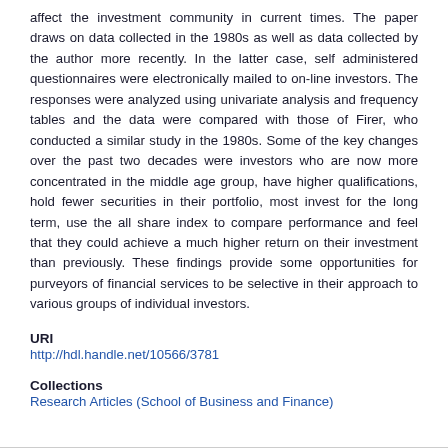affect the investment community in current times. The paper draws on data collected in the 1980s as well as data collected by the author more recently. In the latter case, self administered questionnaires were electronically mailed to on-line investors. The responses were analyzed using univariate analysis and frequency tables and the data were compared with those of Firer, who conducted a similar study in the 1980s. Some of the key changes over the past two decades were investors who are now more concentrated in the middle age group, have higher qualifications, hold fewer securities in their portfolio, most invest for the long term, use the all share index to compare performance and feel that they could achieve a much higher return on their investment than previously. These findings provide some opportunities for purveyors of financial services to be selective in their approach to various groups of individual investors.
URI
http://hdl.handle.net/10566/3781
Collections
Research Articles (School of Business and Finance)